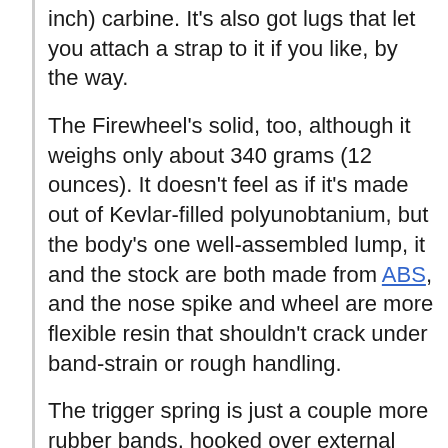inch) carbine. It's also got lugs that let you attach a strap to it if you like, by the way.
The Firewheel's solid, too, although it weighs only about 340 grams (12 ounces). It doesn't feel as if it's made out of Kevlar-filled polyunobtanium, but the body's one well-assembled lump, it and the stock are both made from ABS, and the nose spike and wheel are more flexible resin that shouldn't crack under band-strain or rough handling.
The trigger spring is just a couple more rubber bands, hooked over external pegs, so you can replace them with a couple of ammo-bands in about two seconds if they break - or go all gun-geeky and adjust the trigger tension by adding or removing bands.
The whole firing mechanism has only two moving parts and no hinges, plastic axles or other weak points (the wheel axle is part of the frame, held together with a